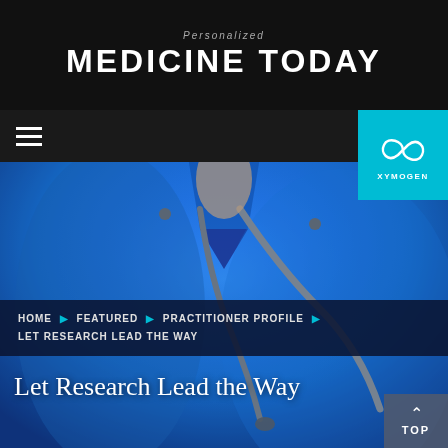Personalized MEDICINE TODAY
[Figure (logo): XYMOGEN brand logo in cyan box with infinity-like symbol]
[Figure (photo): Close-up photo of a healthcare professional in blue scrubs wearing a stethoscope]
HOME ▶ FEATURED ▶ PRACTITIONER PROFILE ▶ LET RESEARCH LEAD THE WAY
Let Research Lead the Way